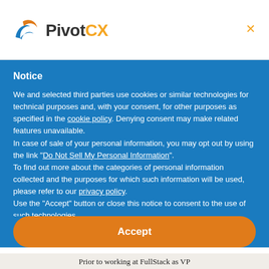[Figure (logo): PivotCX logo with orange and blue arrow/bird icon and bold text 'PivotCX' where 'CX' is orange]
Notice
We and selected third parties use cookies or similar technologies for technical purposes and, with your consent, for other purposes as specified in the cookie policy. Denying consent may make related features unavailable.
In case of sale of your personal information, you may opt out by using the link "Do Not Sell My Personal Information".
To find out more about the categories of personal information collected and the purposes for which such information will be used, please refer to our privacy policy.
Use the "Accept" button or close this notice to consent to the use of such technologies.
Accept
Prior to working at FullStack as VP